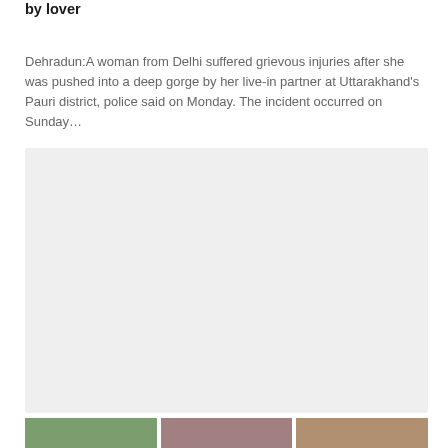by lover
Dehradun:A woman from Delhi suffered grievous injuries after she was pushed into a deep gorge by her live-in partner at Uttarakhand's Pauri district, police said on Monday. The incident occurred on Sunday…
[Figure (photo): Large light gray placeholder image block]
[Figure (photo): Three thumbnail images at the bottom of the page]